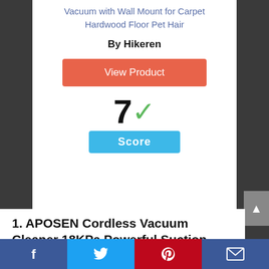Vacuum with Wall Mount for Carpet Hardwood Floor Pet Hair
By Hikeren
View Product
7 ✓
Score
1. APOSEN Cordless Vacuum Cleaner 18KPa Powerful Suction 250W Brushless Motor 4 in 1 Stick Handheld Vacuum for Home Hard